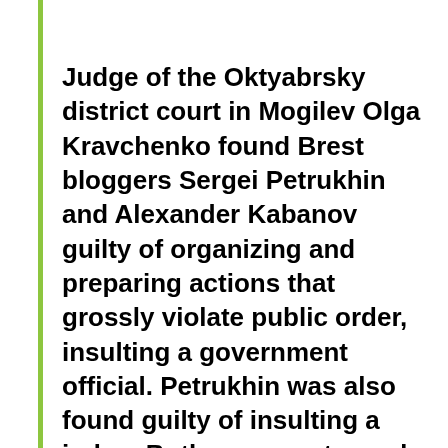Judge of the Oktyabrsky district court in Mogilev Olga Kravchenko found Brest bloggers Sergei Petrukhin and Alexander Kabanov guilty of organizing and preparing actions that grossly violate public order, insulting a government official. Petrukhin was also found guilty of insulting a judge. Both were sentenced to three years in a general regime colony. The bloggers were not present during the hearings: they were removed from the courtroom at the beginning of the